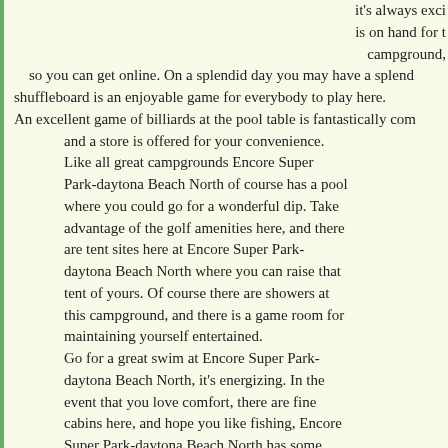it's always exciting is on hand for the campground, so you can get online. On a splendid day you may have a splend shuffleboard is an enjoyable game for everybody to play here. An excellent game of billiards at the pool table is fantastically com and a store is offered for your convenience. Like all great campgrounds Encore Super Park-daytona Beach North of course has a pool where you could go for a wonderful dip. Take advantage of the golf amenities here, and there are tent sites here at Encore Super Park-daytona Beach North where you can raise that tent of yours. Of course there are showers at this campground, and there is a game room for maintaining yourself entertained. Go for a great swim at Encore Super Park-daytona Beach North, it's energizing. In the event that you love comfort, there are fine cabins here, and hope you like fishing, Encore Super Park-daytona Beach North has some glorious fishing. Encore Super Park-daytona Beach North is a great location for RV-ing; in the laundry room yo on a visit to Millennium Stables if you want to ride a horse, and a Sea Fishing is always an excellent idea.